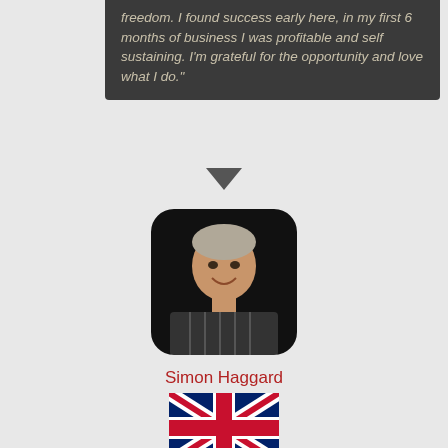freedom. I found success early here, in my first 6 months of business I was profitable and self sustaining. I'm grateful for the opportunity and love what I do."
[Figure (photo): Portrait photo of Simon Haggard, a man smiling, wearing a striped dark shirt, shown in a rounded square frame]
Simon Haggard
[Figure (illustration): UK flag (Union Jack) illustration]